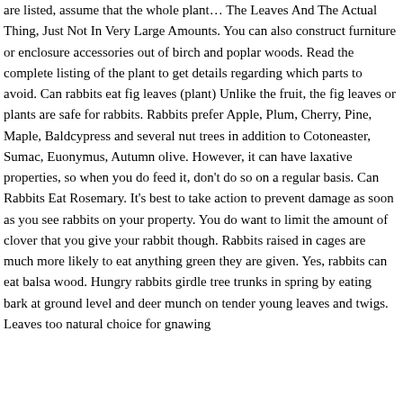are listed, assume that the whole plant… The Leaves And The Actual Thing, Just Not In Very Large Amounts. You can also construct furniture or enclosure accessories out of birch and poplar woods. Read the complete listing of the plant to get details regarding which parts to avoid. Can rabbits eat fig leaves (plant) Unlike the fruit, the fig leaves or plants are safe for rabbits. Rabbits prefer Apple, Plum, Cherry, Pine, Maple, Baldcypress and several nut trees in addition to Cotoneaster, Sumac, Euonymus, Autumn olive. However, it can have laxative properties, so when you do feed it, don't do so on a regular basis. Can Rabbits Eat Rosemary. It's best to take action to prevent damage as soon as you see rabbits on your property. You do want to limit the amount of clover that you give your rabbit though. Rabbits raised in cages are much more likely to eat anything green they are given. Yes, rabbits can eat balsa wood. Hungry rabbits girdle tree trunks in spring by eating bark at ground level and deer munch on tender young leaves and twigs. Leaves too natural choice for gnawing